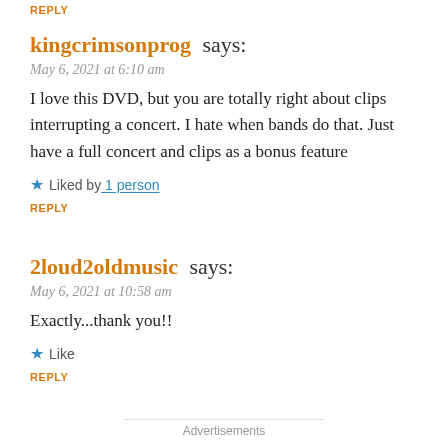REPLY
kingcrimsonprog says:
May 6, 2021 at 6:10 am
I love this DVD, but you are totally right about clips interrupting a concert. I hate when bands do that. Just have a full concert and clips as a bonus feature
Liked by 1 person
REPLY
2loud2oldmusic says:
May 6, 2021 at 10:58 am
Exactly...thank you!!
Like
REPLY
Advertisements